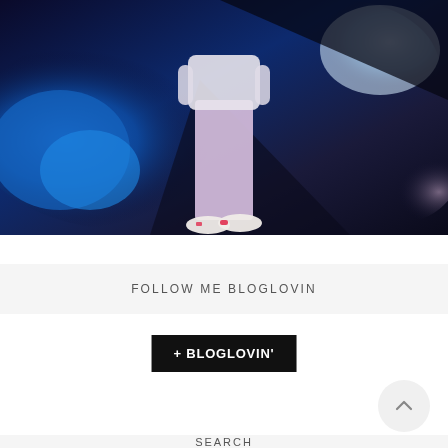[Figure (photo): Person wearing white top and light pink/lavender pants with white and red sneakers, standing in front of a large colorful LED/digital display wall with blue and white abstract art. Image cropped showing lower body and background.]
FOLLOW ME BLOGLOVIN
+ BLOGLOVIN'
SEARCH